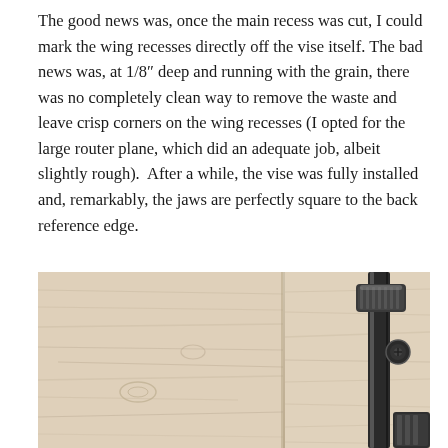The good news was, once the main recess was cut, I could mark the wing recesses directly off the vise itself. The bad news was, at 1/8″ deep and running with the grain, there was no completely clean way to remove the waste and leave crisp corners on the wing recesses (I opted for the large router plane, which did an adequate job, albeit slightly rough).  After a while, the vise was fully installed and, remarkably, the jaws are perfectly square to the back reference edge.
[Figure (photo): Close-up photo of a light-colored wood workbench surface showing wood grain. On the right side, a metal vise jaw or clamp hardware is partially visible, showing a dark metallic handle/knob mechanism mounted to the bench edge.]